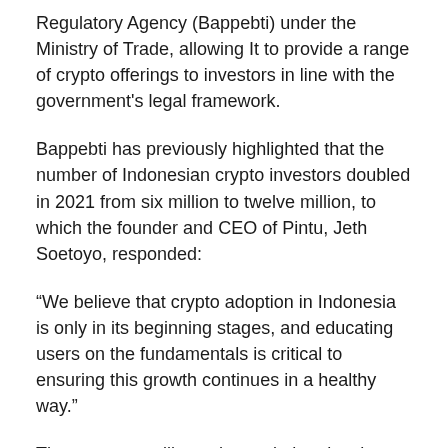Regulatory Agency (Bappebti) under the Ministry of Trade, allowing It to provide a range of crypto offerings to investors in line with the government's legal framework.
Bappebti has previously highlighted that the number of Indonesian crypto investors doubled in 2021 from six million to twelve million, to which the founder and CEO of Pintu, Jeth Soetoyo, responded:
“We believe that crypto adoption in Indonesia is only in its beginning stages, and educating users on the fundamentals is critical to ensuring this growth continues in a healthy way.”
The company will use the capital to develop new features for its beginner-friendly mobile app as well as add more tokens and products to solidify its position in the Indonesian market.
In 2021 the company doubled its size to 200, and it plans to continue with this aggressive hiring strategy to facilitate further